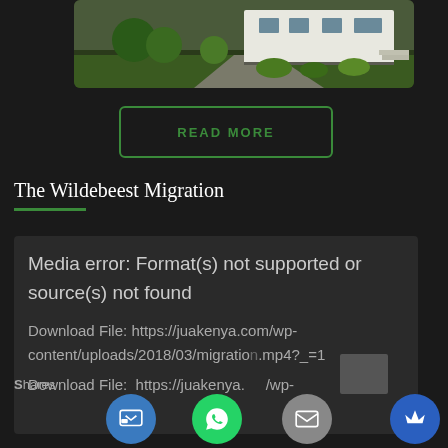[Figure (photo): Photograph of a white building/house with trees and a driveway, cropped at top of page]
READ MORE
The Wildebeest Migration
Media error: Format(s) not supported or source(s) not found

Download File: https://juakenya.com/wp-content/uploads/2018/03/migration.mp4?_=1
Download File: https://juakenya.com/wp-
Shares